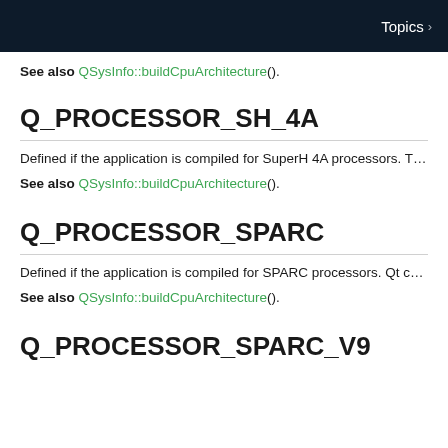Topics >
See also QSysInfo::buildCpuArchitecture().
Q_PROCESSOR_SH_4A
Defined if the application is compiled for SuperH 4A processors. The Q_PR
See also QSysInfo::buildCpuArchitecture().
Q_PROCESSOR_SPARC
Defined if the application is compiled for SPARC processors. Qt currently s
See also QSysInfo::buildCpuArchitecture().
Q_PROCESSOR_SPARC_V9